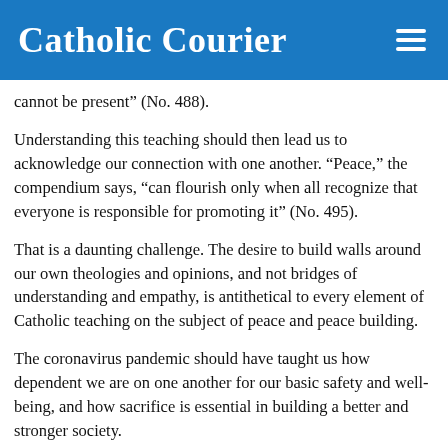Catholic Courier
cannot be present” (No. 488).
Understanding this teaching should then lead us to acknowledge our connection with one another. “Peace,” the compendium says, “can flourish only when all recognize that everyone is responsible for promoting it” (No. 495).
That is a daunting challenge. The desire to build walls around our own theologies and opinions, and not bridges of understanding and empathy, is antithetical to every element of Catholic teaching on the subject of peace and peace building.
The coronavirus pandemic should have taught us how dependent we are on one another for our basic safety and well-being, and how sacrifice is essential in building a better and stronger society.
“In the face of the pandemic,” said Pope Francis in his 2021